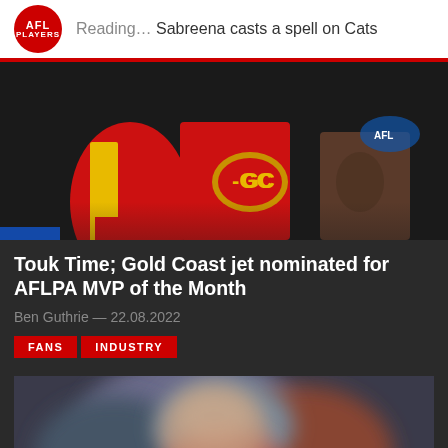Reading… Sabreena casts a spell on Cats
[Figure (photo): Gold Coast Suns AFL players in red and gold jerseys with GC logo, close-up group shot]
Touk Time; Gold Coast jet nominated for AFLPA MVP of the Month
Ben Guthrie — 22.08.2022
FANS
INDUSTRY
[Figure (photo): Blurred photo of AFL player, appears to be a close-up action or portrait shot]